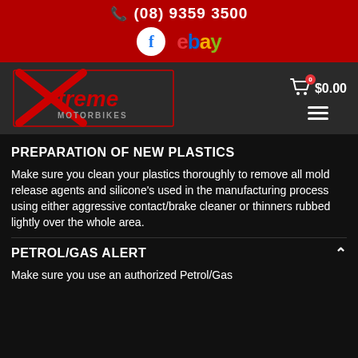(08) 9359 3500
[Figure (logo): Xtreme Motorbikes logo in red on dark background]
PREPARATION OF NEW PLASTICS
Make sure you clean your plastics thoroughly to remove all mold release agents and silicone's used in the manufacturing process using either aggressive contact/brake cleaner or thinners rubbed lightly over the whole area.
PETROL/GAS ALERT
Make sure you use an authorized Petrol/Gas...